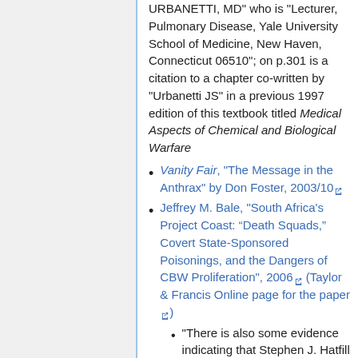URBANETTI, MD" who is "Lecturer, Pulmonary Disease, Yale University School of Medicine, New Haven, Connecticut 06510"; on p.301 is a citation to a chapter co-written by "Urbanetti JS" in a previous 1997 edition of this textbook titled Medical Aspects of Chemical and Biological Warfare
Vanity Fair, "The Message in the Anthrax" by Don Foster, 2003/10
Jeffrey M. Bale, "South Africa's Project Coast: “Death Squads,” Covert State-Sponsored Poisonings, and the Dangers of CBW Proliferation", 2006 (Taylor & Francis Online page for the paper)
"There is also some evidence indicating that Stephen J. Hatfill